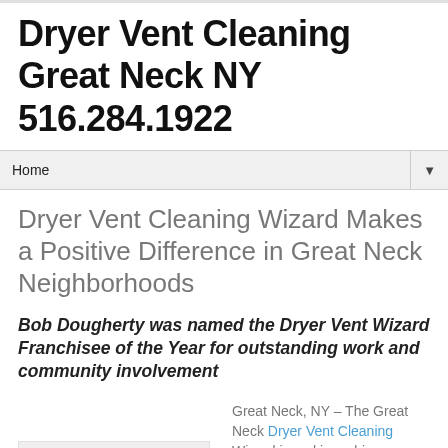Dryer Vent Cleaning Great Neck NY 516.284.1922
Home ▼
Dryer Vent Cleaning Wizard Makes a Positive Difference in Great Neck Neighborhoods
Bob Dougherty was named the Dryer Vent Wizard Franchisee of the Year for outstanding work and community involvement
[Figure (photo): Image placeholder box]
Great Neck, NY – The Great Neck Dryer Vent Cleaning Wizard is making a big